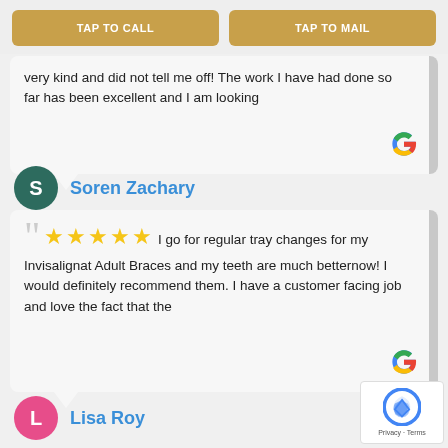TAP TO CALL
TAP TO MAIL
very kind and did not tell me off! The work I have had done so far has been excellent and I am looking
Soren Zachary
I go for regular tray changes for my Invisalignat Adult Braces and my teeth are much betternow! I would definitely recommend them. I have a customer facing job and love the fact that the
Lisa Roy